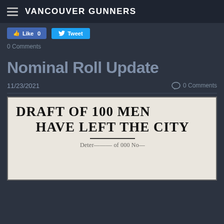VANCOUVER GUNNERS
Like 0   Tweet
0 Comments
Nominal Roll Update
11/23/2021   0 Comments
[Figure (photo): Newspaper clipping with large bold headline text reading 'DRAFT OF 100 MEN HAVE LEFT THE CITY' with a horizontal rule and partial subtext below.]